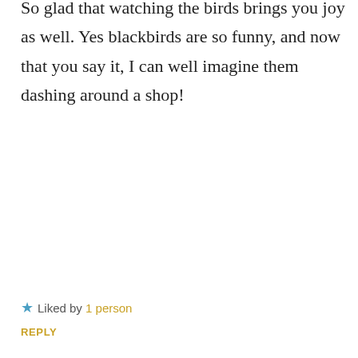So glad that watching the birds brings you joy as well. Yes blackbirds are so funny, and now that you say it, I can well imagine them dashing around a shop!
★ Liked by 1 person
REPLY
Leave a Reply to
Privacy & Cookies: This site uses cookies. By continuing to use this website, you agree to their use.
To find out more, including how to control cookies, see here: Cookie Policy
Close and accept
Required fields are marked *